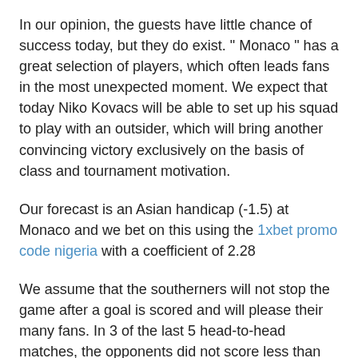In our opinion, the guests have little chance of success today, but they do exist. " Monaco " has a great selection of players, which often leads fans in the most unexpected moment. We expect that today Niko Kovacs will be able to set up his squad to play with an outsider, which will bring another convincing victory exclusively on the basis of class and tournament motivation.
Our forecast is an Asian handicap (-1.5) at Monaco and we bet on this using the 1xbet promo code nigeria with a coefficient of 2.28
We assume that the southerners will not stop the game after a goal is scored and will please their many fans. In 3 of the last 5 head-to-head matches, the opponents did not score less than three goals, which is what we expect from them today.
Second bet – total over 3 goals in 2.35